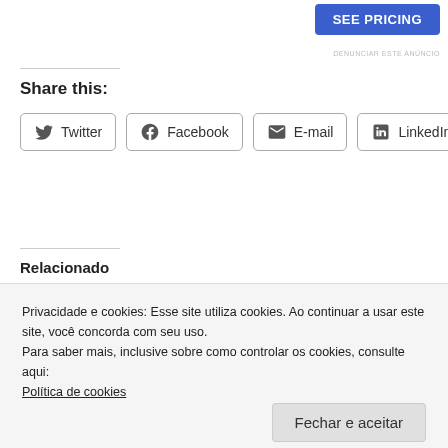[Figure (other): SEE PRICING button (blue, advertisement)]
DENUNCIAR ESTE ANÚNCIO
Share this:
Twitter
Facebook
E-mail
LinkedIn
Relacionado
The Coronavirus Death Count
Slowing the Coronavirus Is
Privacidade e cookies: Esse site utiliza cookies. Ao continuar a usar este site, você concorda com seu uso.
Para saber mais, inclusive sobre como controlar os cookies, consulte aqui:
Política de cookies
Fechar e aceitar
DENUNCIAR ESTE ANÚNCIO